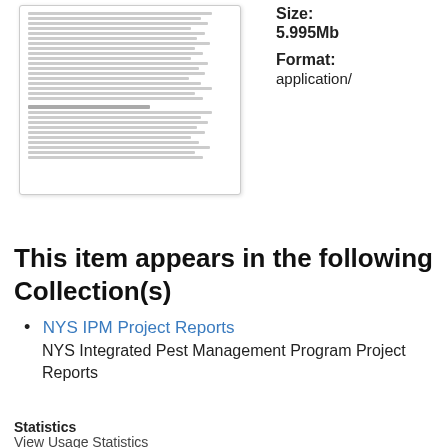[Figure (illustration): Thumbnail preview of a document page showing text content with a border and shadow]
Size:
5.995Mb
Format:
application/
View/Open
This item appears in the following Collection(s)
NYS IPM Project Reports
NYS Integrated Pest Management Program Project Reports
Show simple item record
Statistics
View Usage Statistics